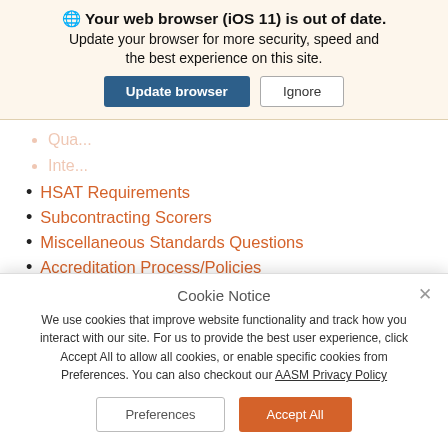🌐 Your web browser (iOS 11) is out of date. Update your browser for more security, speed and the best experience on this site.
HSAT Requirements
Subcontracting Scorers
Miscellaneous Standards Questions
Accreditation Process/Policies
General Questions
Cookie Notice
We use cookies that improve website functionality and track how you interact with our site. For us to provide the best user experience, click Accept All to allow all cookies, or enable specific cookies from Preferences. You can also checkout our AASM Privacy Policy